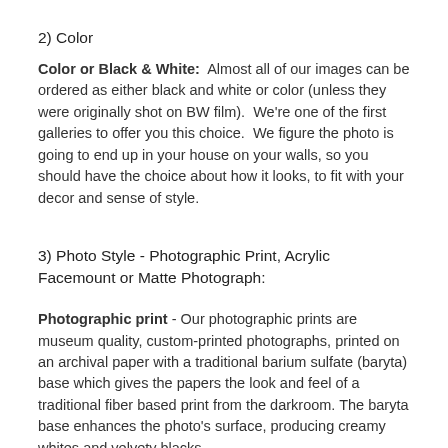2) Color
Color or Black & White:  Almost all of our images can be ordered as either black and white or color (unless they were originally shot on BW film).  We're one of the first galleries to offer you this choice.  We figure the photo is going to end up in your house on your walls, so you should have the choice about how it looks, to fit with your decor and sense of style.
3) Photo Style - Photographic Print, Acrylic Facemount or Matte Photograph:
Photographic print - Our photographic prints are museum quality, custom-printed photographs, printed on an archival paper with a traditional barium sulfate (baryta) base which gives the papers the look and feel of a traditional fiber based print from the darkroom. The baryta base enhances the photo's surface, producing creamy whites and velvety blacks